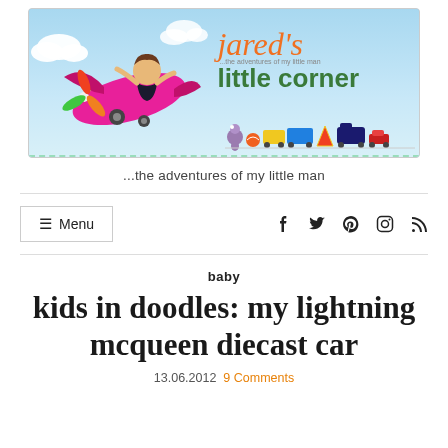[Figure (illustration): Jared's Little Corner blog banner with cartoon child on a pink airplane, colorful toy train at bottom, sky blue background. Text reads "jared's little corner ...the adventures of my little man"]
...the adventures of my little man
≡ Menu   f  𝕡  𝑖  ⊃
baby
kids in doodles: my lightning mcqueen diecast car
13.06.2012   9 Comments